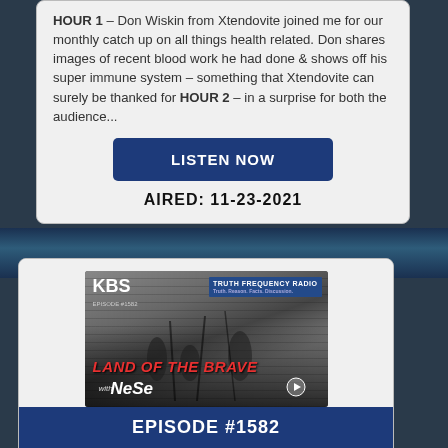HOUR 1 – Don Wiskin from Xtendovite joined me for our monthly catch up on all things health related. Don shares images of recent blood work he had done & shows off his super immune system – something that Xtendovite can surely be thanked for HOUR 2 – in a surprise for both the audience...
LISTEN NOW
AIRED: 11-23-2021
[Figure (photo): Show thumbnail for 'Land of the Brave with NeSe' – black and white historical image with KBS logo and Truth Frequency Radio branding, show title in red italic text.]
EPISODE #1582
LAND OF THE GIANTS, HOME OF THE BRAVE W/NESE
(The host has not yet entered a description for this archive)...
LISTEN NOW